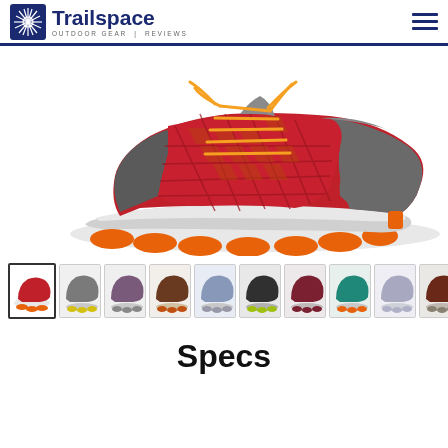Trailspace — Outdoor Gear Reviews
[Figure (photo): Trail running shoe, red and gray with orange laces and orange sole, side view angled slightly upward. Red mesh upper with gray overlays forming a diamond pattern. Orange lugged outsole.]
[Figure (photo): Row of 10 thumbnail images of various trail running shoe colorways for the same model.]
Specs